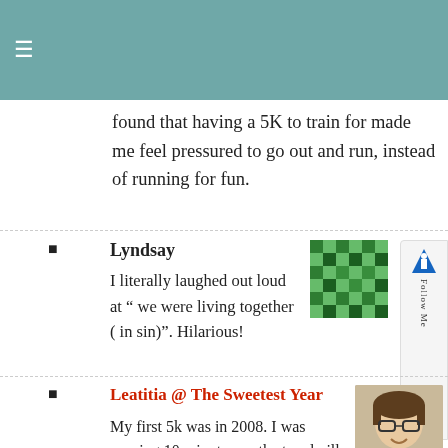≡
found that having a 5K to train for made me feel pressured to go out and run, instead of running for fun.
Lyndsay
I literally laughed out loud at " we were living together ( in sin)". Hilarious!
Leatitia @ The Sweetest Year
My first 5k was in 2008. I was running 10 minutes on the treadmill and started to calculate how long I'd have to run to cover 5 whole km. I guessed